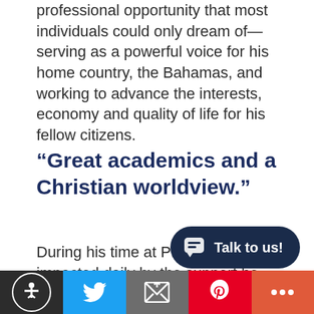professional opportunity that most individuals could only dream of—serving as a powerful voice for his home country, the Bahamas, and working to advance the interests, economy and quality of life for his fellow citizens.
“Great academics and a Christian worldview.”
During his time at PBA, Neilly was impacted daily by the support he received. He believes that support from the campus communi[ty is just as] important as the quality[...]
[Figure (other): Chat widget overlay with speech bubble icon and 'Talk to us!' text on dark navy rounded pill button]
[Figure (other): Bottom navigation toolbar with accessibility icon (dark), Twitter bird (blue), email/envelope (gray), Pinterest P (red), plus/more (orange-red)]